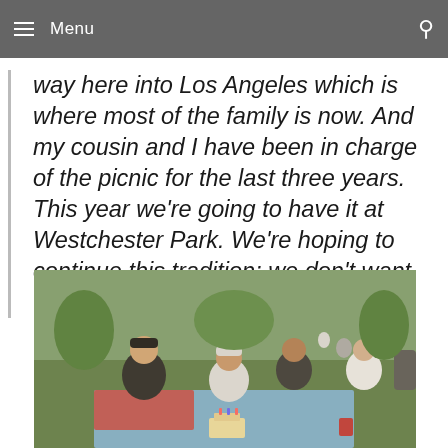Menu
way here into Los Angeles which is where most of the family is now. And my cousin and I have been in charge of the picnic for the last three years. This year we're going to have it at Westchester Park. We're hoping to continue this tradition; we don't want to let it slide.
[Figure (photo): A group of people, including young men and an elderly woman, sitting on blankets at a park picnic. There is a birthday cake on the ground. Trees and other picnic-goers are visible in the background.]